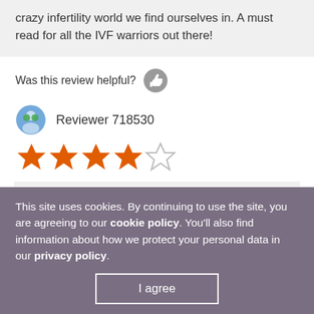crazy infertility world we find ourselves in. A must read for all the IVF warriors out there!
Was this review helpful?
Reviewer 718530
[Figure (other): 4 out of 5 stars rating]
First of all thank you to Samantha for telling her story because I'm sure it was painful to relieve that journey.

This book gives an insight to a fertility that spans years, eventually it results in the couple going through IVF
This site uses cookies. By continuing to use the site, you are agreeing to our cookie policy. You'll also find information about how we protect your personal data in our privacy policy.
I agree